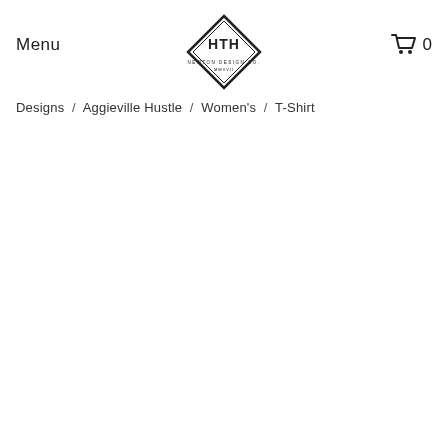Menu
[Figure (logo): HTH Newton Design Co. MMXVII diamond logo]
0 (cart)
Designs / Aggieville Hustle / Women's / T-Shirt